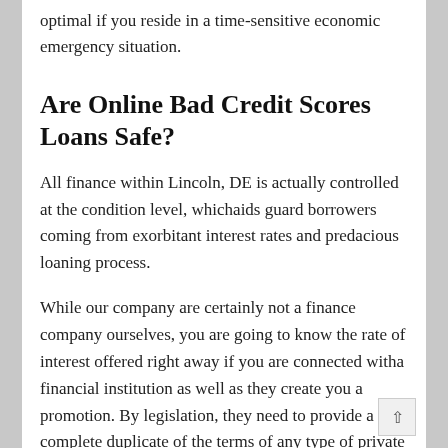optimal if you reside in a time-sensitive economic emergency situation.
Are Online Bad Credit Scores Loans Safe?
All finance within Lincoln, DE is actually controlled at the condition level, whichaids guard borrowers coming from exorbitant interest rates and predacious loaning process.
While our company are certainly not a finance company ourselves, you are going to know the rate of interest offered right away if you are connected witha financial institution as well as they create you a promotion. By legislation, they need to provide a complete duplicate of the terms of any type of private finance just before you sign the on-line deal as well as you are free to walk away at any time.
That does not mean there may not be sites available that